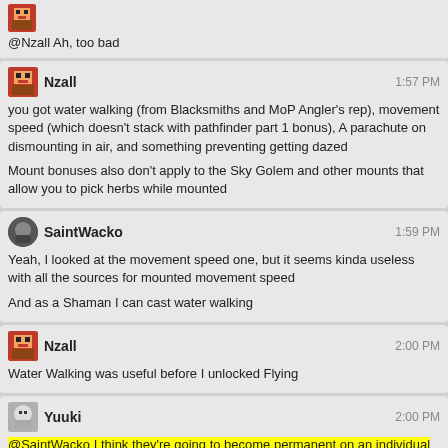@Nzall Ah, too bad
Nzall 1:57 PM
you got water walking (from Blacksmiths and MoP Angler's rep), movement speed (which doesn't stack with pathfinder part 1 bonus), A parachute on dismounting in air, and something preventing getting dazed
Mount bonuses also don't apply to the Sky Golem and other mounts that allow you to pick herbs while mounted
SaintWacko 1:59 PM
Yeah, I looked at the movement speed one, but it seems kinda useless with all the sources for mounted movement speed
And as a Shaman I can cast water walking
Nzall 2:00 PM
Water Walking was useful before I unlocked Flying
Yuuki 2:00 PM
@SaintWacko I think they're going to become permanent on an individual mount basis in the future?
I overheard that that a future patch is going to introduce equipment slots for mounts instead of their current implementation of timed buffs.
Nzall 2:02 PM
@Yuuki Oh please no, that would totally ruin the "summon favorite mount" button
I fully disagree with giving mounts such deep specialisations on an individual basis. They're meant to be fully cosmetic skins for the same bonus
Tim Stone 2:03 PM